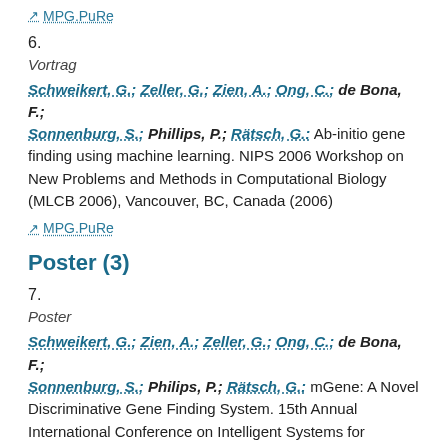MPG.PuRe
6.
Vortrag
Schweikert, G.; Zeller, G.; Zien, A.; Ong, C.; de Bona, F.; Sonnenburg, S.; Phillips, P.; Rätsch, G.: Ab-initio gene finding using machine learning. NIPS 2006 Workshop on New Problems and Methods in Computational Biology (MLCB 2006), Vancouver, BC, Canada (2006)
MPG.PuRe
Poster (3)
7.
Poster
Schweikert, G.; Zien, A.; Zeller, G.; Ong, C.; de Bona, F.; Sonnenburg, S.; Philips, P.; Rätsch, G.: mGene: A Novel Discriminative Gene Finding System. 15th Annual International Conference on Intelligent Systems for